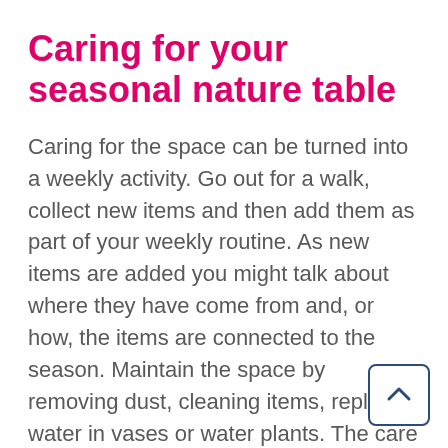Caring for your seasonal nature table
Caring for the space can be turned into a weekly activity. Go out for a walk, collect new items and then add them as part of your weekly routine. As new items are added you might talk about where they have come from and, or how, the items are connected to the season. Maintain the space by removing dust, cleaning items, replace water in vases or water plants. The care of keeping this space beautiful - an evolving piece of art - will impact upon your child's approach to the environment and promote their own sense of wellbeing. Make sure that all items on your